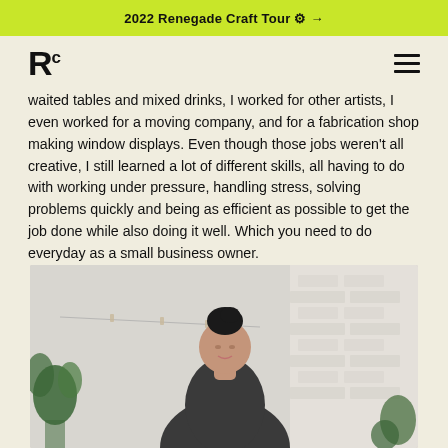2022 Renegade Craft Tour ⚙ →
Rc
waited tables and mixed drinks, I worked for other artists, I even worked for a moving company, and for a fabrication shop making window displays. Even though those jobs weren't all creative, I still learned a lot of different skills, all having to do with working under pressure, handling stress, solving problems quickly and being as efficient as possible to get the job done while also doing it well. Which you need to do everyday as a small business owner.
[Figure (photo): A woman with dark hair in a bun, wearing a black top, looking downward in a studio or workshop setting with plants and a white brick wall in the background.]